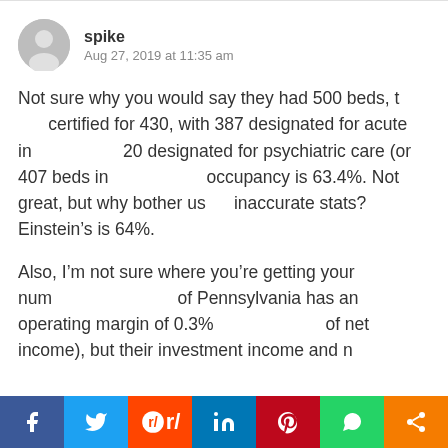spike
Aug 27, 2019 at 11:35 am
Not sure why you would say they had 500 beds, they are certified for 430, with 387 designated for acute inpatient and 20 designated for psychiatric care (or 407 beds in total). Their occupancy is 63.4%. Not great, but why bother using inaccurate stats? Einstein's is 64%.
Also, I'm not sure where you're getting your numbers. University of Pennsylvania has an operating margin of 0.3% (not inclusive of net income), but their investment income and non-patient revenue (i.e. grants and donations) account for an additional $334M in revenue to get them to the 8.__ reference. On an operating basis they were barely
[Figure (infographic): Social sharing bar with Facebook, Twitter, Reddit, LinkedIn, Pinterest, WhatsApp, and share buttons]